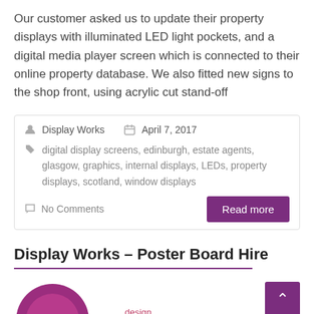Our customer asked us to update their property displays with illuminated LED light pockets, and a digital media player screen which is connected to their online property database. We also fitted new signs to the shop front, using acrylic cut stand-off
Display Works   April 7, 2017
digital display screens, edinburgh, estate agents, glasgow, graphics, internal displays, LEDs, property displays, scotland, window displays
No Comments
Read more
Display Works – Poster Board Hire
[Figure (illustration): Partial circular logo/image in purple/magenta tones, with a 'design' label in pink, and scroll-to-top buttons]